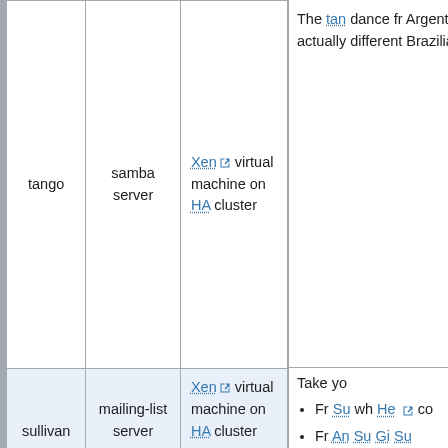| Name | Role | Type |
| --- | --- | --- |
| tango | samba server | Xen virtual machine on HA cluster |
| sullivan | mailing-list server | Xen virtual machine on HA cluster |
The tango dance from Argentina is actually a different dance Brazilian...
Take yo...
Fr... Su... wh... He... co...
Fr... An... Su... Gi... Su...